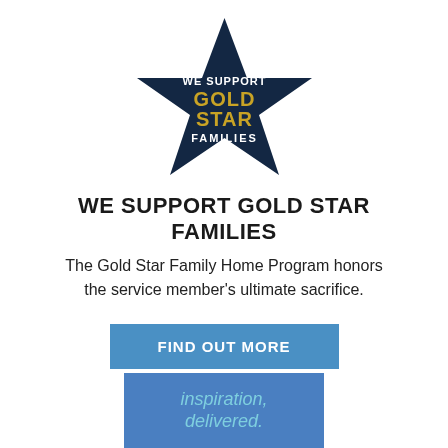[Figure (logo): Dark navy blue star shape with text 'WE SUPPORT GOLD STAR FAMILIES' inside, where 'GOLD STAR' is in gold/yellow color and other text is white]
WE SUPPORT GOLD STAR FAMILIES
The Gold Star Family Home Program honors the service member's ultimate sacrifice.
[Figure (other): Blue rectangular button with white bold uppercase text 'FIND OUT MORE']
[Figure (illustration): Blue banner/image partially visible at bottom showing cursive text reading 'inspiration, delivered.']